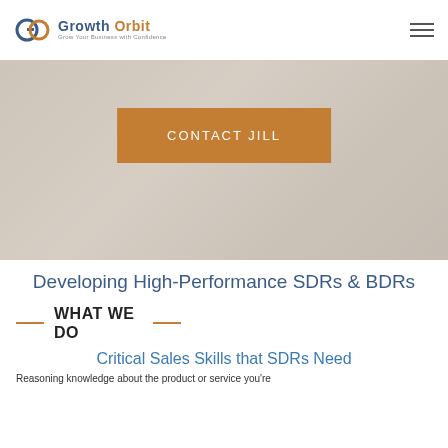Growth Orbit — Grow Your Business with Confidence
[Figure (photo): Hero background image showing a desk/workspace scene, muted warm gray tones]
CONTACT JILL
Developing High-Performance SDRs & BDRs
WHAT WE DO
Critical Sales Skills that SDRs Need
Reasoning knowledge about the product or service you're